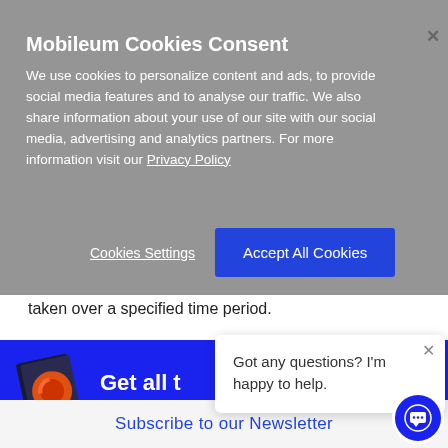Mobileum Cookies Consent
We use cookies to personalize content and ads, to provide social media features and to analyse our traffic. We also share information about your use of our site with our social media, advertising and analytics partners. For more information visit our Privacy Policy
Cookies Settings
Accept All Cookies
taken over a specified time period.
Get all t
Got any questions? I'm happy to help.
Subscribe to our Newsletter